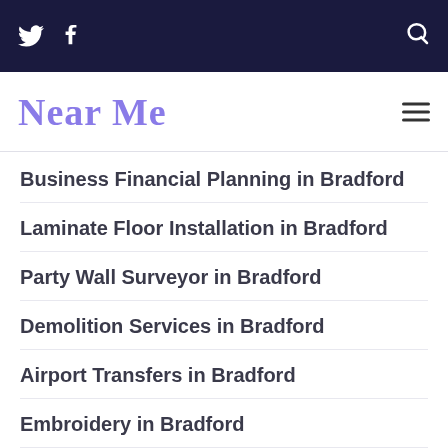Near Me — top navigation bar with Twitter, Facebook, and Search icons
Near Me
Business Financial Planning in Bradford
Laminate Floor Installation in Bradford
Party Wall Surveyor in Bradford
Demolition Services in Bradford
Airport Transfers in Bradford
Embroidery in Bradford
Granite Worktop Installation in Bradford